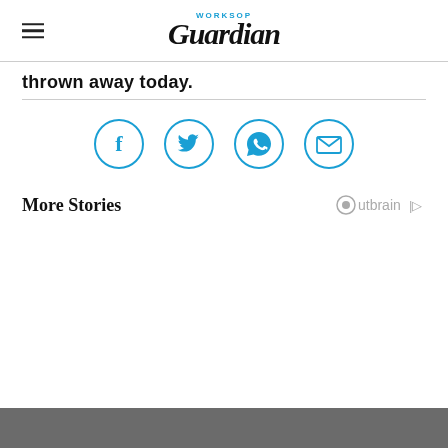Worksop Guardian
thrown away today.
[Figure (infographic): Four circular social share icons: Facebook, Twitter, WhatsApp, Email — all in blue outline style]
More Stories
[Figure (logo): Outbrain logo with play-button icon]